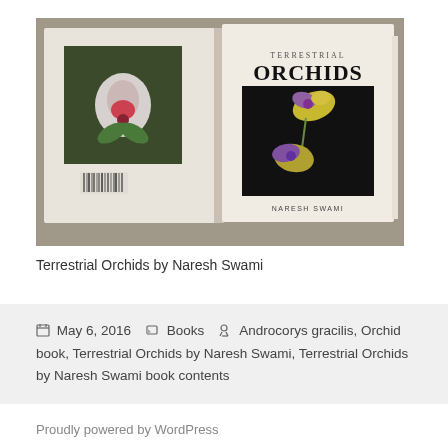[Figure (photo): Photograph of the book 'Terrestrial Orchids' by Naresh Swami, showing front and back covers. The back cover features an orchid flower on a green background; the front cover shows two orchid flowers on a dark background with the title 'TERRESTRIAL ORCHIDS' and author name 'NARESH SWAMI'.]
Terrestrial Orchids by Naresh Swami
📅 May 6, 2016   🗂 Books   🏷 Androcorys gracilis, Orchid book, Terrestrial Orchids by Naresh Swami, Terrestrial Orchids by Naresh Swami book contents
Proudly powered by WordPress